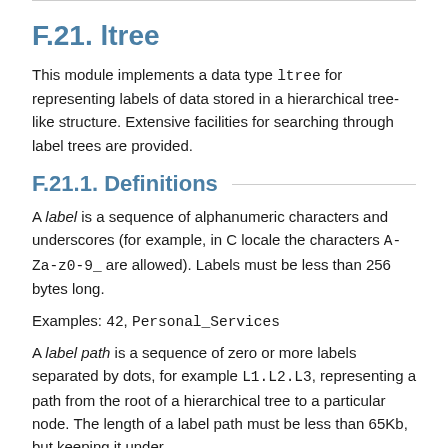F.21. ltree
This module implements a data type ltree for representing labels of data stored in a hierarchical tree-like structure. Extensive facilities for searching through label trees are provided.
F.21.1. Definitions
A label is a sequence of alphanumeric characters and underscores (for example, in C locale the characters A-Za-z0-9_ are allowed). Labels must be less than 256 bytes long.
Examples: 42, Personal_Services
A label path is a sequence of zero or more labels separated by dots, for example L1.L2.L3, representing a path from the root of a hierarchical tree to a particular node. The length of a label path must be less than 65Kb, but keeping it under